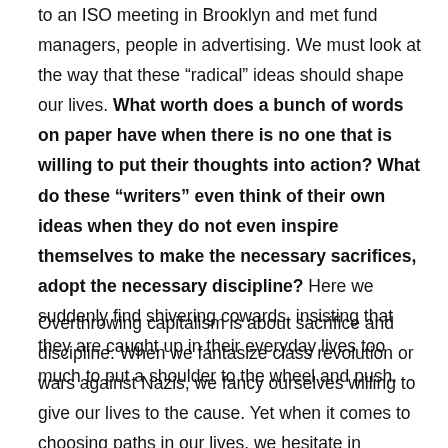to an ISO meeting in Brooklyn and met fund managers, people in advertising. We must look at the way that these “radical” ideas should shape our lives. What worth does a bunch of words on paper have when there is no one that is willing to put their thoughts into action? What do these “writers” even think of their own ideas when they do not even inspire themselves to make the necessary sacrifices, adopt the necessary discipline? Here we suddenly find shivering cowards, insisting that they are caught up in their everyday lives too much to put a shoulder to the wheel and push.
Overthrowing capitalism is about sacrifice and discipline. When we fantasize class revolution or wars against Nazis, we fancy ourselves willing to give our lives to the cause. Yet when it comes to choosing paths in our lives, we hesitate in committing fully to our positions. It becomes about this or that obligation, the desire and right, we bark defensively, to